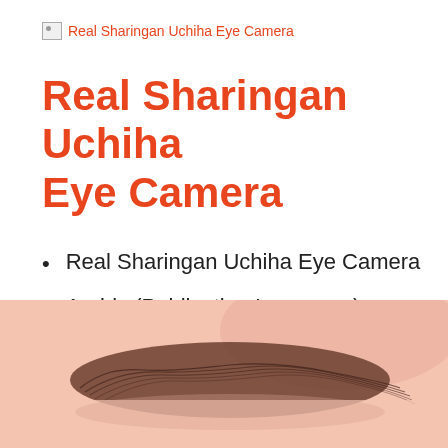[Figure (other): Broken image icon with alt text 'Real Sharingan Uchiha Eye Camera']
Real Sharingan Uchiha Eye Camera
Real Sharingan Uchiha Eye Camera
Arabic (Publication Language)
[Figure (other): Buy on Amazon button with Amazon logo]
[Figure (photo): Close-up photograph of a human eyebrow and upper eye area showing skin texture and hair detail]